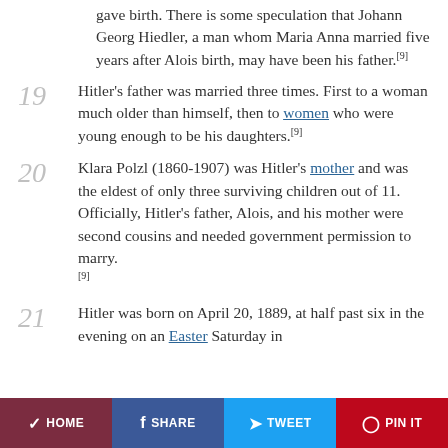gave birth. There is some speculation that Johann Georg Hiedler, a man whom Maria Anna married five years after Alois birth, may have been his father.[9]
19 Hitler's father was married three times. First to a woman much older than himself, then to women who were young enough to be his daughters.[9]
20 Klara Polzl (1860-1907) was Hitler's mother and was the eldest of only three surviving children out of 11. Officially, Hitler's father, Alois, and his mother were second cousins and needed government permission to marry.[9]
21 Hitler was born on April 20, 1889, at half past six in the evening on an Easter Saturday in
HOME  SHARE  TWEET  PIN IT